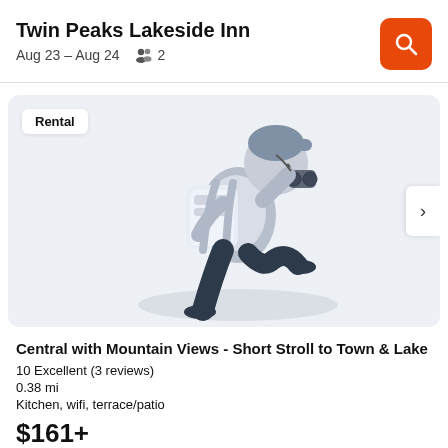Twin Peaks Lakeside Inn
Aug 23 – Aug 24   👥 2
[Figure (illustration): Illustration of a person with a backpack looking through binoculars, rendered in light blue-grey tones on a light grey background. A 'Rental' badge is shown in the top-left corner, and a right-arrow navigation button on the right edge.]
Central with Mountain Views - Short Stroll to Town & Lake
10 Excellent (3 reviews)
0.38 mi
Kitchen, wifi, terrace/patio
$161+